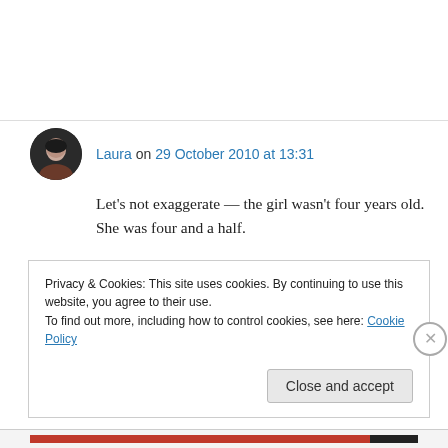Laura on 29 October 2010 at 13:31
Let's not exaggerate — the girl wasn't four years old. She was four and a half.
No, seriously — I was sure you had it wrong, and that only the parents were being sued, until I read the article. This is insane.
Privacy & Cookies: This site uses cookies. By continuing to use this website, you agree to their use.
To find out more, including how to control cookies, see here: Cookie Policy